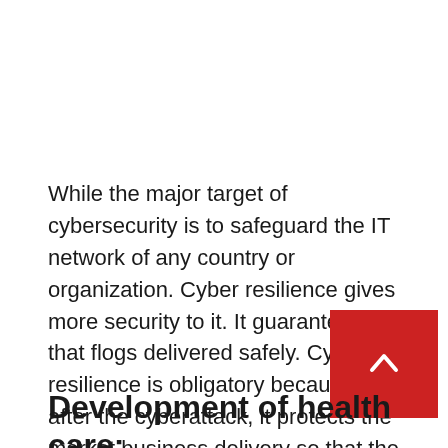While the major target of cybersecurity is to safeguard the IT network of any country or organization. Cyber resilience gives more security to it. It guarantees that flogs delivered safely. Cyber resilience is obligatory because, after the cyberattack, it protects the market business delivery so that the trade is not disturbed.
Development of health care: